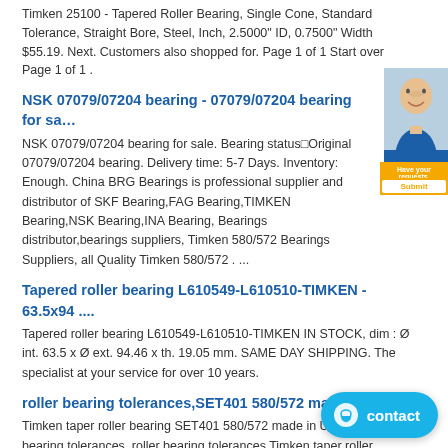Timken 25100 - Tapered Roller Bearing, Single Cone, Standard Tolerance, Straight Bore, Steel, Inch, 2.5000" ID, 0.7500" Width $55.19. Next. Customers also shopped for. Page 1 of 1 Start over Page 1 of 1 .
NSK 07079/07204 bearing - 07079/07204 bearing for sa…
NSK 07079/07204 bearing for sale. Bearing status□Original 07079/07204 bearing. Delivery time: 5-7 Days. Inventory: Enough. China BRG Bearings is professional supplier and distributor of SKF Bearing,FAG Bearing,TIMKEN Bearing,NSK Bearing,INA Bearing, Bearings distributor,bearings suppliers, Timken 580/572 Bearings Suppliers, all Quality Timken 580/572 . ...
Tapered roller bearing L610549-L610510-TIMKEN - 63.5x94 ....
Tapered roller bearing L610549-L610510-TIMKEN IN STOCK, dim : Ø int. 63.5 x Ø ext. 94.46 x th. 19.05 mm. SAME DAY SHIPPING. The specialist at your service for over 10 years.
roller bearing tolerances,SET401 580/572 made in U…
Timken taper roller bearing SET401 580/572 made in USA roller bearing tolerances. roller bearing tolerances Timken taper roller bearing is the separation bearings.The inner ring with roller and cage formed within the component,outer ring formed with the outer component.
Timken Factory | China Timken Manufacturers…
SKF High Temperature Bearings SKF high temperature bearings and bearing